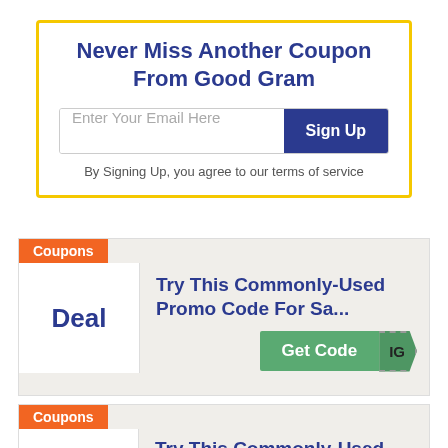Never Miss Another Coupon From Good Gram
Enter Your Email Here
Sign Up
By Signing Up, you agree to our terms of service
Coupons
Try This Commonly-Used Promo Code For Sa...
Deal
Get Code
IG
Coupons
Try This Commonly-Used Promo Code For Sa...
Deal